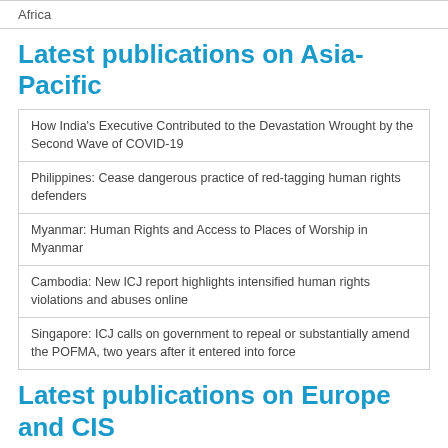Africa
Latest publications on Asia-Pacific
| How India's Executive Contributed to the Devastation Wrought by the Second Wave of COVID-19 |
| Philippines: Cease dangerous practice of red-tagging human rights defenders |
| Myanmar: Human Rights and Access to Places of Worship in Myanmar |
| Cambodia: New ICJ report highlights intensified human rights violations and abuses online |
| Singapore: ICJ calls on government to repeal or substantially amend the POFMA, two years after it entered into force |
Latest publications on Europe and CIS